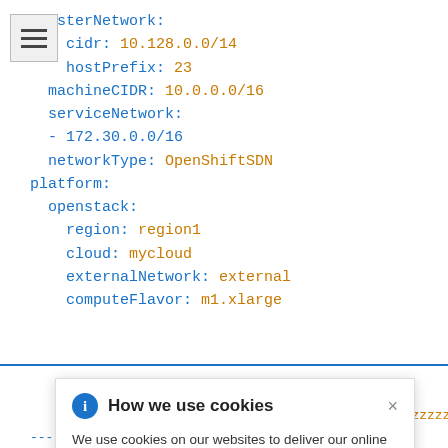clusterNetwork:
  - cidr: 10.128.0.0/14
    hostPrefix: 23
  machineCIDR: 10.0.0.0/16
  serviceNetwork:
  - 172.30.0.0/16
  networkType: OpenShiftSDN
platform:
  openstack:
    region: region1
    cloud: mycloud
    externalNetwork: external
    computeFlavor: m1.xlarge
[Figure (screenshot): Cookie consent banner reading 'How we use cookies' with info icon and close button. Text explains cookie usage and links to Privacy Statement.]